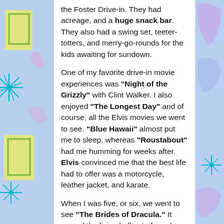[Figure (illustration): Decorative retro-style background with colorful geometric shapes, star bursts in teal/blue on left and right panels, yellow/green rectangles on left, blue/purple shapes on right]
the Foster Drive-in. They had acreage, and a huge snack bar. They also had a swing set, teeter-totters, and merry-go-rounds for the kids awaiting for sundown.

One of my favorite drive-in movie experiences was "Night of the Grizzly" with Clint Walker. I also enjoyed "The Longest Day" and of course, all the Elvis movies we went to see. "Blue Hawaii" almost put me to sleep, whereas "Roustabout" had me humming for weeks after. Elvis convinced me that the best life had to offer was a motorcycle, leather jacket, and karate.

When I was five, or six, we went to see "The Brides of Dracula." It scared the living hell out of me. I spent almost the entire movie trembling behind the back